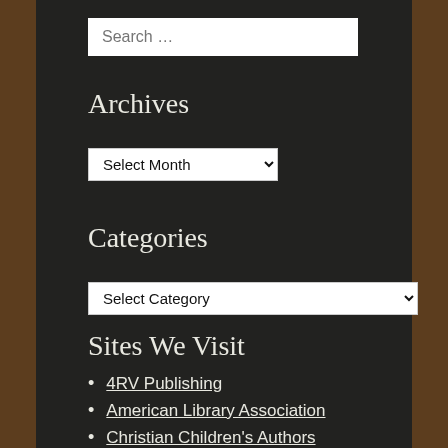Search …
Archives
Select Month
Categories
Select Category
Sites We Visit
4RV Publishing
American Library Association
Christian Children's Authors
Chronicle Books
Clavis Publishing